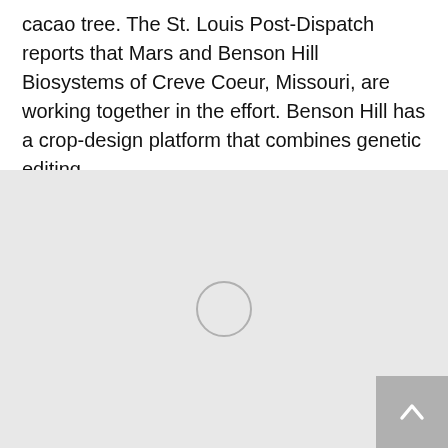cacao tree. The St. Louis Post-Dispatch reports that Mars and Benson Hill Biosystems of Creve Coeur, Missouri, are working together in the effort. Benson Hill has a crop-design platform that combines genetic editing…
[Figure (photo): Large image placeholder with a loading spinner circle in the center, shown on a light gray background. A scroll-to-top button with an upward arrow is visible in the bottom-right corner.]